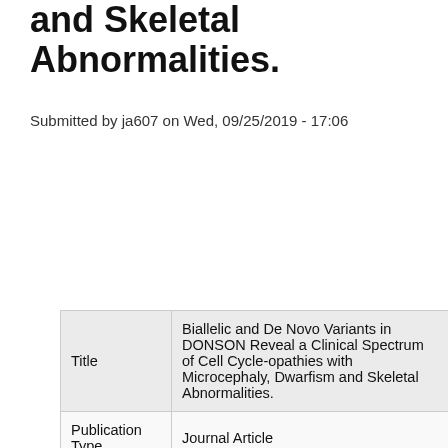and Skeletal Abnormalities.
Submitted by ja607 on Wed, 09/25/2019 - 17:06
| Field | Value |
| --- | --- |
| Title | Biallelic and De Novo Variants in DONSON Reveal a Clinical Spectrum of Cell Cycle-opathies with Microcephaly, Dwarfism and Skeletal Abnormalities. |
| Publication Type | Journal Article |
| Year of Publication | 2019 |
| Authors | Karaca, E, Posey, JE, Bostwick, B, Liu, P, Gezdirici, A, Yesil, G, Akdemir, ZCoban, Bayram, Y, Harms, FL, Meinecke, P, Alawi, M, Bacino, CA, V Sutton, R, Kortüm, F, Lupski, JR |